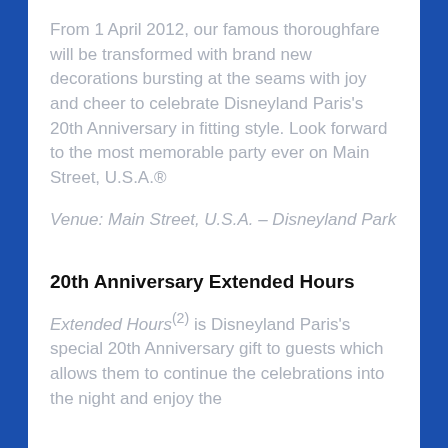From 1 April 2012, our famous thoroughfare will be transformed with brand new decorations bursting at the seams with joy and cheer to celebrate Disneyland Paris's 20th Anniversary in fitting style. Look forward to the most memorable party ever on Main Street, U.S.A.®
Venue: Main Street, U.S.A. – Disneyland Park
20th Anniversary Extended Hours
Extended Hours(2) is Disneyland Paris's special 20th Anniversary gift to guests which allows them to continue the celebrations into the night and enjoy the